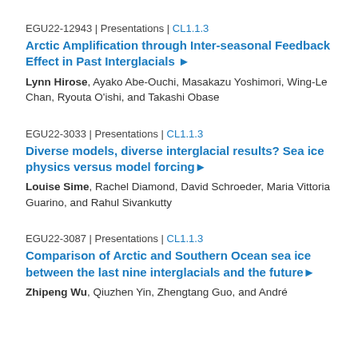EGU22-12943 | Presentations | CL1.1.3
Arctic Amplification through Inter-seasonal Feedback Effect in Past Interglacials ▶
Lynn Hirose, Ayako Abe-Ouchi, Masakazu Yoshimori, Wing-Le Chan, Ryouta O'ishi, and Takashi Obase
EGU22-3033 | Presentations | CL1.1.3
Diverse models, diverse interglacial results? Sea ice physics versus model forcing▶
Louise Sime, Rachel Diamond, David Schroeder, Maria Vittoria Guarino, and Rahul Sivankutty
EGU22-3087 | Presentations | CL1.1.3
Comparison of Arctic and Southern Ocean sea ice between the last nine interglacials and the future▶
Zhipeng Wu, Qiuzhen Yin, Zhengtang Guo, and André B...